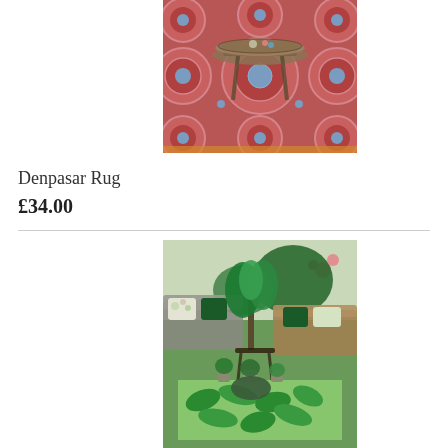[Figure (photo): A red/pink patterned rug with blue circular motifs and a round wicker coffee table on top, shown in a room setting]
Denpasar Rug
£34.00
[Figure (photo): A green tropical leaf-patterned outdoor rug shown in a garden/patio setting with wooden furniture, green velvet cushions, and potted plants]